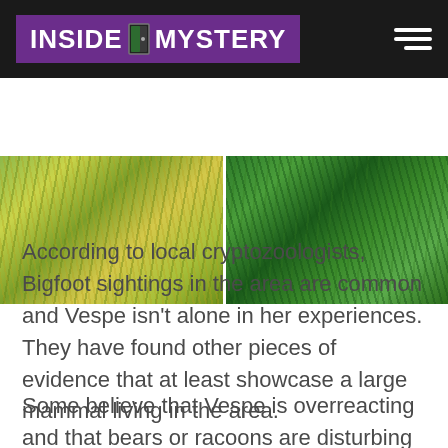INSIDE MYSTERY
[Figure (photo): Two side-by-side photos of grass and vegetation on the ground, showing matted and green grass respectively.]
According to local cryptozoologists, Bigfoot sightings in the area are common and Vespe isn't alone in her experiences. They have found other pieces of evidence that at least showcase a large mammal living in the area.
Some believe that Vespe is overreacting and that bears or racoons are disturbing